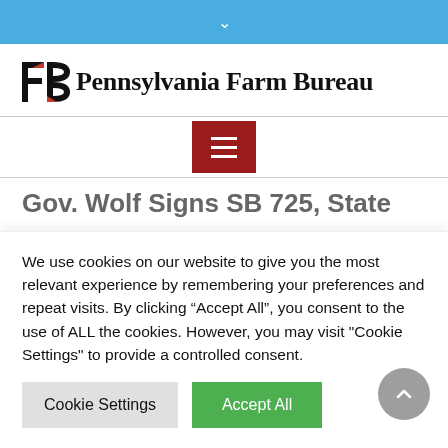[Figure (logo): Pennsylvania Farm Bureau logo with stylized FB mark in red and black, followed by bold serif text 'Pennsylvania Farm Bureau']
[Figure (other): Dark red hamburger menu button (three horizontal white lines on dark red background)]
Gov. Wolf Signs SB 725, State
We use cookies on our website to give you the most relevant experience by remembering your preferences and repeat visits. By clicking “Accept All”, you consent to the use of ALL the cookies. However, you may visit "Cookie Settings" to provide a controlled consent.